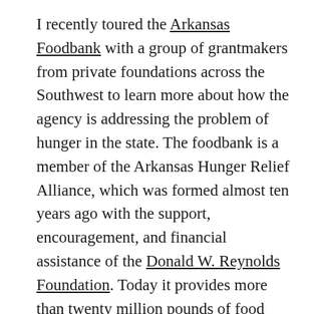I recently toured the Arkansas Foodbank with a group of grantmakers from private foundations across the Southwest to learn more about how the agency is addressing the problem of hunger in the state. The foodbank is a member of the Arkansas Hunger Relief Alliance, which was formed almost ten years ago with the support, encouragement, and financial assistance of the Donald W. Reynolds Foundation. Today it provides more than twenty million pounds of food annually to help feed people in need. Collaboration has helped the alliance make great strides in the fight against hunger in Arkansas and is something the two